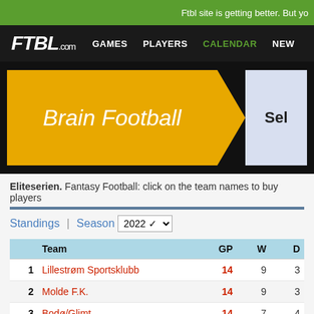Ftbl site is getting better. But yo
FTBL.com   GAMES   PLAYERS   CALENDAR   NEW
[Figure (infographic): Brain Football banner with yellow background and arrow pointing right to 'Sel' section]
Eliteserien. Fantasy Football: click on the team names to buy players
Standings | Season 2022
|  | Team | GP | W | D |
| --- | --- | --- | --- | --- |
| 1 | Lillestrøm Sportsklubb | 14 | 9 | 3 |
| 2 | Molde F.K. | 14 | 9 | 3 |
| 3 | Bodø/Glimt | 14 | 7 | 4 |
| 4 | Viking | 15 | 7 | 4 |
| 5 | Rosenborg | 13 | 5 | 6 |
| 6 | Strømsgodset | 14 | 6 | 3 |
| 7 | Sarpsborg 08 | 13 | 6 | 1 |